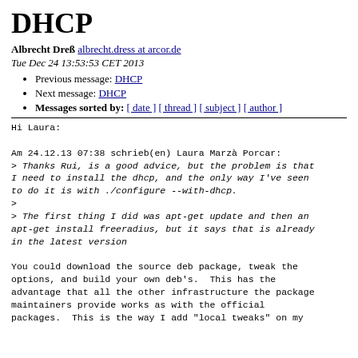DHCP
Albrecht Dreß albrecht.dress at arcor.de
Tue Dec 24 13:53:53 CET 2013
Previous message: DHCP
Next message: DHCP
Messages sorted by: [ date ] [ thread ] [ subject ] [ author ]
Hi Laura:

Am 24.12.13 07:38 schrieb(en) Laura Marzà Porcar:
> Thanks Rui, is a good advice, but the problem is that I need to install the dhcp, and the only way I've seen to do it is with ./configure --with-dhcp.
>
> The first thing I did was apt-get update and then an apt-get install freeradius, but it says that is already in the latest version

You could download the source deb package, tweak the options, and build your own deb's.  This has the advantage that all the other infrastructure the package maintainers provide works as with the official packages.  This is the way I add "local tweaks" on my ...